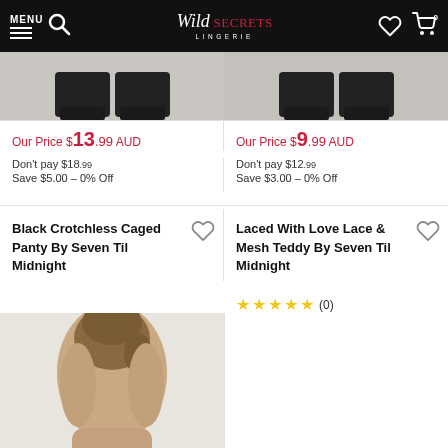MENU | Wild Secrets Lingerie | Search | Wishlist | Cart (0)
Our Price $13.99 AUD
Don't pay $18.99
Save $5.00 – 0% Off
Our Price $9.99 AUD
Don't pay $12.99
Save $3.00 – 0% Off
Black Crotchless Caged Panty By Seven Til Midnight
Laced With Love Lace & Mesh Teddy By Seven Til Midnight
★★★★★ (0)
[Figure (photo): Product photo showing back view of model wearing black lace crotchless caged panty]
[Figure (photo): Cropped product image top strip showing shoes/feet from previous product listing]